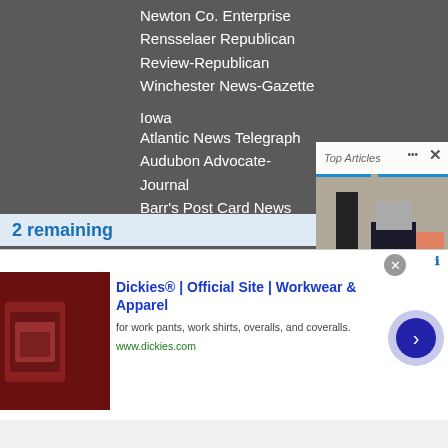Newton Co. Enterprise
Rensselaer Republican
Review-Republican
Winchester News-Gazette
Iowa
Atlantic News Telegraph
Audubon Advocate-Journal
Barr's Post Card News
Collector's Journal
Fayette Co…
Ft. Madison…
Independen…
Keokuk Dai…
Oelwein Da…
Vinton New…
Waverly Ne…
2 remaining
[Figure (photo): Outdoor photo showing people's legs, a collie dog on a leash, and a woman in a red dress]
Top Articles
Spotlight shines on
[Figure (screenshot): Advertisement for Dickies workwear showing chair interior image, ad text: Dickies® | Official Site | Workwear & Apparel, for work pants, work shirts, overalls, and coveralls. www.dickies.com]